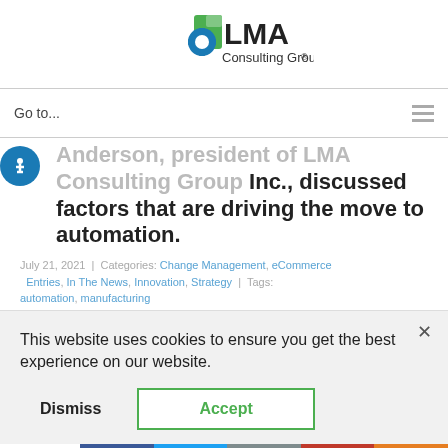[Figure (logo): LMA Consulting Group logo with green and blue gear/document icon and text 'LMA Consulting Group']
Go to...
Anderson, president of LMA Consulting Group Inc., discussed factors that are driving the move to automation.
July 21, 2021 | Categories: Change Management, eCommerce | Entries, In The News, Innovation, Strategy | Tags:
This website uses cookies to ensure you get the best experience on our website.
Dismiss
Accept
0 SHARES